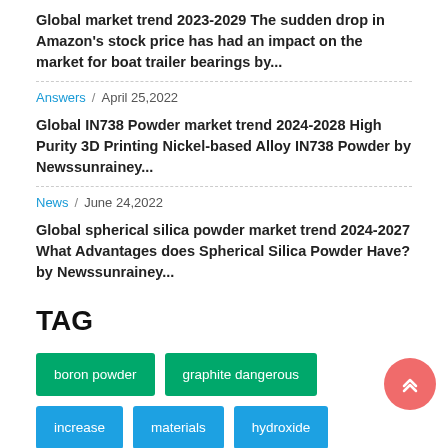Global market trend 2023-2029 The sudden drop in Amazon's stock price has had an impact on the market for boat trailer bearings by...
Answers / April 25,2022
Global IN738 Powder market trend 2024-2028 High Purity 3D Printing Nickel-based Alloy IN738 Powder by Newssunrainey...
News / June 24,2022
Global spherical silica powder market trend 2024-2027 What Advantages does Spherical Silica Powder Have? by Newssunrainey...
TAG
boron powder
graphite dangerous
increase
materials
hydroxide
Spherical Tungsten Powder